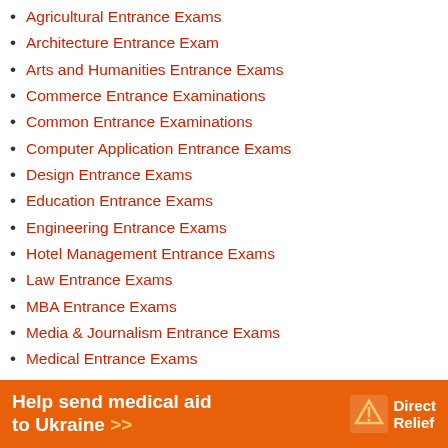Agricultural Entrance Exams
Architecture Entrance Exam
Arts and Humanities Entrance Exams
Commerce Entrance Examinations
Common Entrance Examinations
Computer Application Entrance Exams
Design Entrance Exams
Education Entrance Exams
Engineering Entrance Exams
Hotel Management Entrance Exams
Law Entrance Exams
MBA Entrance Exams
Media & Journalism Entrance Exams
Medical Entrance Exams
Nursing Entrance Exams
Pharmacy Entrance Exams
Science Entrance Exams
Diploma & Polytechnic
[Figure (infographic): Orange banner advertisement: 'Help send medical aid to Ukraine >>' with DirectRelief logo on the right]